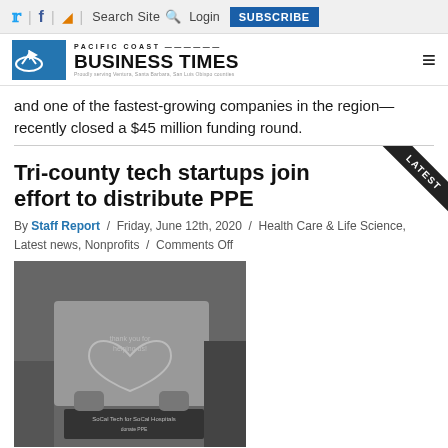Twitter | Facebook | RSS | Search Site | Login | SUBSCRIBE
[Figure (logo): Pacific Coast Business Times logo with blue box icon and text]
and one of the fastest-growing companies in the region— recently closed a $45 million funding round.
Tri-county tech startups join effort to distribute PPE
By Staff Report / Friday, June 12th, 2020 / Health Care & Life Science, Latest news, Nonprofits / Comments Off
[Figure (photo): Black and white photo of person holding a sign that reads 'SoCal Tech for SoCal Hospitals donate PPE']
Tech startups across the Tri-Counties and Greater Los Angeles